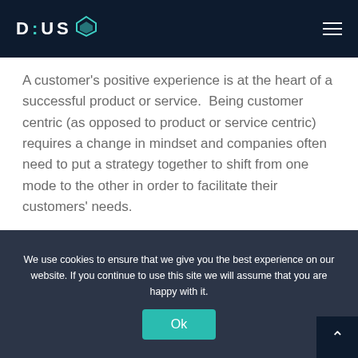DIUS
A customer's positive experience is at the heart of a successful product or service.  Being customer centric (as opposed to product or service centric) requires a change in mindset and companies often need to put a strategy together to shift from one mode to the other in order to facilitate their customers' needs.
I recently presented a lightning talk at
We use cookies to ensure that we give you the best experience on our website. If you continue to use this site we will assume that you are happy with it.